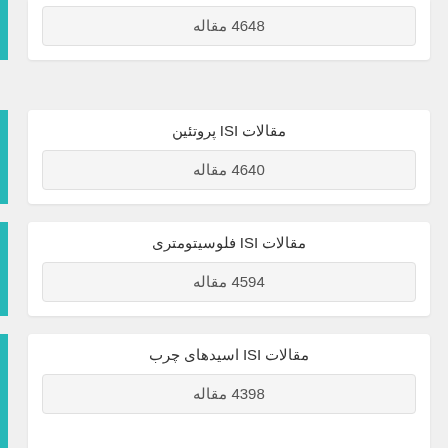4648 مقاله
مقالات ISI پروتئین
4640 مقاله
مقالات ISI فلوسیتومتری
4594 مقاله
مقالات ISI اسیدهای چرب
4398 مقاله